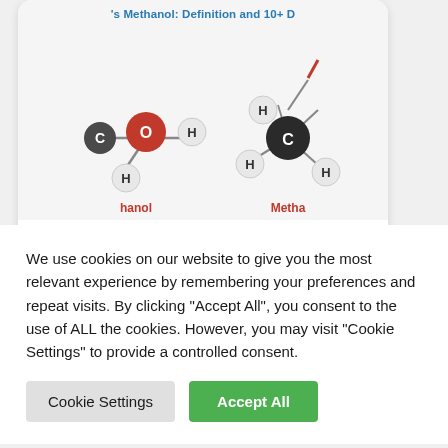[Figure (illustration): Molecular structure models of Ethanol and Methanol shown side by side. Left shows ethanol molecule with C, O (red), H atoms. Right shows methanol molecule with C (dark), H atoms. Labels 'hanol' and 'Metha' in red at bottom.]
Ethanol Vs Methanol: Definition and 10+ Differences
We use cookies on our website to give you the most relevant experience by remembering your preferences and repeat visits. By clicking “Accept All”, you consent to the use of ALL the cookies. However, you may visit "Cookie Settings" to provide a controlled consent.